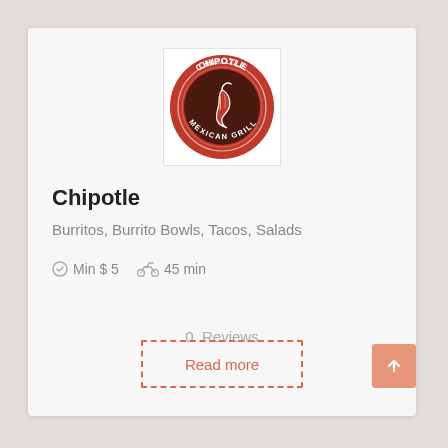[Figure (logo): Chipotle Mexican Grill logo — circular red badge with white text and a chili pepper illustration]
Chipotle
Burritos, Burrito Bowls, Tacos, Salads
Min $ 5   45 min
0  Reviews
Read more